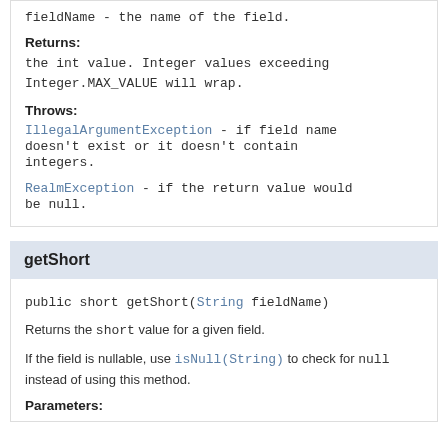fieldName - the name of the field.
Returns:
the int value. Integer values exceeding Integer.MAX_VALUE will wrap.
Throws:
IllegalArgumentException - if field name doesn't exist or it doesn't contain integers.
RealmException - if the return value would be null.
getShort
public short getShort(String fieldName)
Returns the short value for a given field.
If the field is nullable, use isNull(String) to check for null instead of using this method.
Parameters: